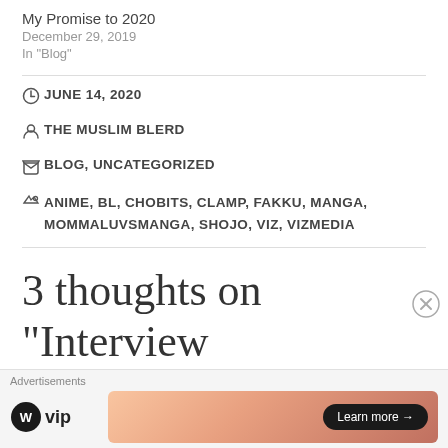My Promise to 2020
December 29, 2019
In "Blog"
JUNE 14, 2020
THE MUSLIM BLERD
BLOG, UNCATEGORIZED
ANIME, BL, CHOBITS, CLAMP, FAKKU, MANGA, MOMMALUVSMANGA, SHOJO, VIZ, VIZMEDIA
3 thoughts on “Interview Mangatube! w/
Advertisements
[Figure (other): WordPress VIP logo and advertisement banner with Learn more button]